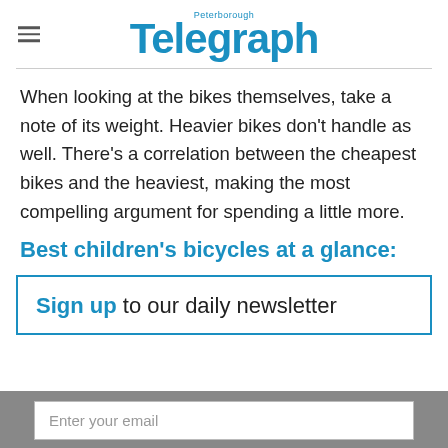Peterborough Telegraph
When looking at the bikes themselves, take a note of its weight. Heavier bikes don't handle as well. There's a correlation between the cheapest bikes and the heaviest, making the most compelling argument for spending a little more.
Best children's bicycles at a glance:
Sign up to our daily newsletter
Enter your email